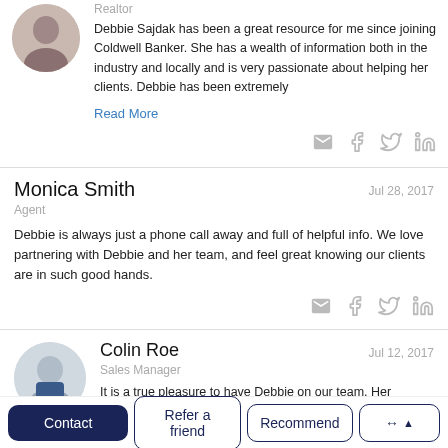Realtor
Debbie Sajdak has been a great resource for me since joining Coldwell Banker. She has a wealth of information both in the industry and locally and is very passionate about helping her clients. Debbie has been extremely
Read More
Monica Smith
Jul 28, 2017
Agent
Debbie is always just a phone call away and full of helpful info. We love partnering with Debbie and her team, and feel great knowing our clients are in such good hands.
Colin Roe
Jul 12, 2017
Sales Manager
It is a true pleasure to have Debbie on our team. Her dedication to her business and escrow partners is